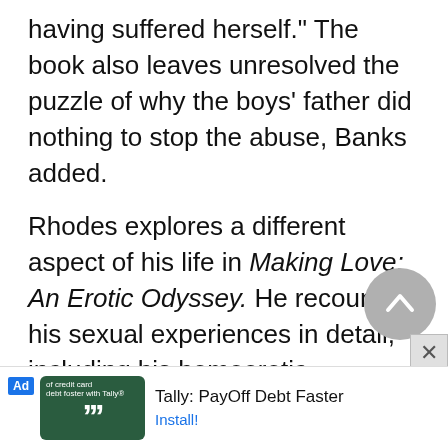having suffered herself." The book also leaves unresolved the puzzle of why the boys' father did nothing to stop the abuse, Banks added.
Rhodes explores a different aspect of his life in Making Love: An Erotic Odyssey. He recounts his sexual experiences in detail, including his homoerotic explorations with other boys at the Drumm Institute, his loss of virginity to a prostitute, his two ma...